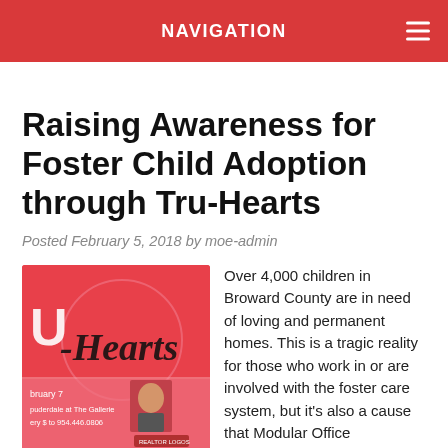NAVIGATION
Raising Awareness for Foster Child Adoption through Tru-Hearts
Posted February 5, 2018 by moe-admin
[Figure (photo): Tru-Hearts event promotional image with pink/red background showing cursive 'U-Hearts' text, event details including 'February 7', 'Fort Lauderdale at The Gallerie', 'RSVP by $ to 954.446.0806', and a woman's portrait photo]
Over 4,000 children in Broward County are in need of loving and permanent homes. This is a tragic reality for those who work in or are involved with the foster care system, but it's also a cause that Modular Office Environments is extremely passionate about raising